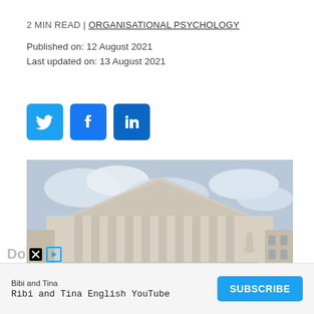2 MIN READ | ORGANISATIONAL PSYCHOLOGY
Published on: 12 August 2021
Last updated on: 13 August 2021
[Figure (other): Social media share buttons: Twitter (blue bird icon), Facebook (blue f icon), LinkedIn (blue in icon)]
[Figure (photo): Photograph of the United States Supreme Court building with classical Greek columns and a cloudy sky]
Bibi and Tina
Ribi and Tina English YouTube
SUBSCRIBE